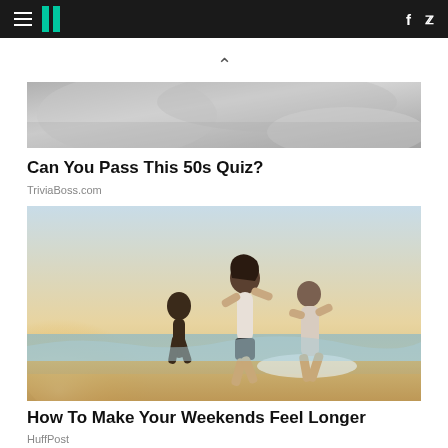HuffPost navigation bar with hamburger menu, logo, facebook and twitter icons
[Figure (other): Upward chevron/caret icon indicating scroll up]
[Figure (photo): Black and white photo of people, partially cropped at top]
Can You Pass This 50s Quiz?
TriviaBoss.com
[Figure (photo): Three women dancing and jumping on a beach at sunset, backlit by warm golden light, waves in the background]
How To Make Your Weekends Feel Longer
HuffPost